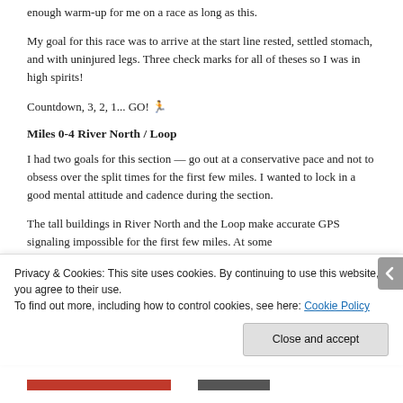enough warm-up for me on a race as long as this.
My goal for this race was to arrive at the start line rested, settled stomach, and with uninjured legs. Three check marks for all of theses so I was in high spirits!
Countdown, 3, 2, 1... GO! 🏃
Miles 0-4 River North / Loop
I had two goals for this section — go out at a conservative pace and not to obsess over the split times for the first few miles. I wanted to lock in a good mental attitude and cadence during the section.
The tall buildings in River North and the Loop make accurate GPS signaling impossible for the first few miles. At some
Privacy & Cookies: This site uses cookies. By continuing to use this website, you agree to their use.
To find out more, including how to control cookies, see here: Cookie Policy